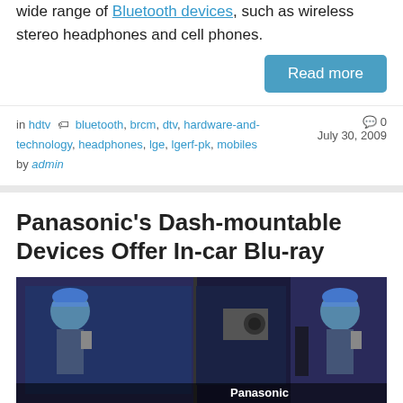wide range of Bluetooth devices, such as wireless stereo headphones and cell phones.
Read more
in hdtv  bluetooth, brcm, dtv, hardware-and-technology, headphones, lge, lgerf-pk, mobiles  0  July 30, 2009  by admin
Panasonic's Dash-mountable Devices Offer In-car Blu-ray
[Figure (photo): Stage presentation photo showing a person in hard hat on screen, with Panasonic branding visible at bottom right]
Blu-Ray may still be absent from most people's living rooms – but Panasonic is offering a pair of dash-mountable devices for those who need their high-def